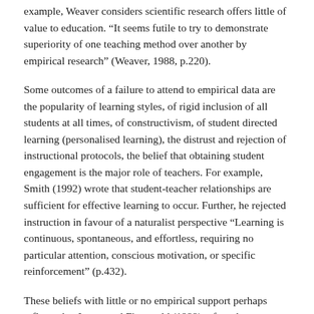example, Weaver considers scientific research offers little of value to education. “It seems futile to try to demonstrate superiority of one teaching method over another by empirical research” (Weaver, 1988, p.220).
Some outcomes of a failure to attend to empirical data are the popularity of learning styles, of rigid inclusion of all students at all times, of constructivism, of student directed learning (personalised learning), the distrust and rejection of instructional protocols, the belief that obtaining student engagement is the major role of teachers. For example, Smith (1992) wrote that student-teacher relationships are sufficient for effective learning to occur. Further, he rejected instruction in favour of a naturalist perspective “Learning is continuous, spontaneous, and effortless, requiring no particular attention, conscious motivation, or specific reinforcement” (p.432).
These beliefs with little or no empirical support perhaps reflect what Isaacs and Fitzgerald (1999) referred to as